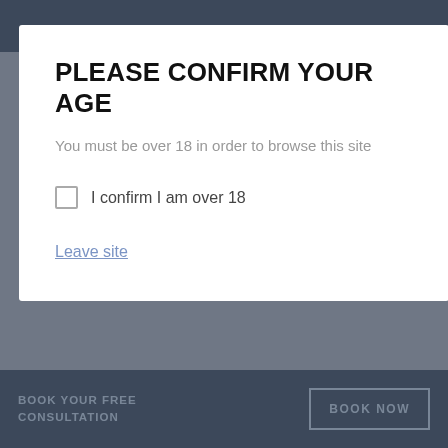[Figure (screenshot): Website age confirmation modal overlay on a medical/cosmetic surgery website. Modal contains title 'PLEASE CONFIRM YOUR AGE', subtitle text, a checkbox, and a leave site link. Background shows navigation links including Privacy Policy, FAQ's, Complaints Procedure pages, and a bottom bar with 'BOOK YOUR FREE CONSULTATION' and 'BOOK NOW' button.]
PLEASE CONFIRM YOUR AGE
You must be over 18 in order to browse this site
I confirm I am over 18
Leave site
Privacy Policy
FAQ's
Complaints Procedure - Surgical
Complaints Procedure - Non-Surgical
PRICE CHECK
BOOK YOUR FREE CONSULTATION
BOOK NOW